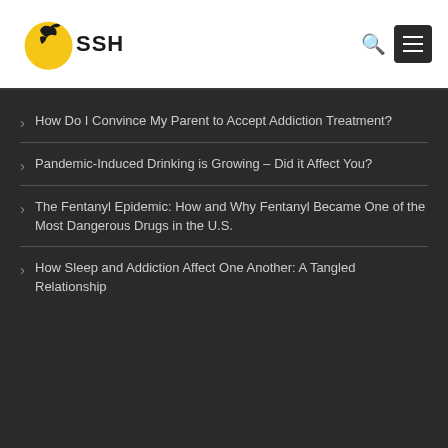SSH
How Do I Convince My Parent to Accept Addiction Treatment?
Pandemic-Induced Drinking is Growing – Did it Affect You?
The Fentanyl Epidemic: How and Why Fentanyl Became One of the Most Dangerous Drugs in the U.S.
How Sleep and Addiction Affect One Another: A Tangled Relationship